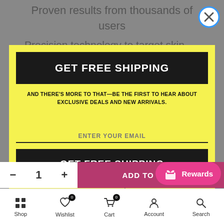Proven results from thousands of users
Precision technology to target skin
[Figure (screenshot): Close button X in blue circle]
GET FREE SHIPPING
AND THERE'S MORE TO THAT—BE THE FIRST TO HEAR ABOUT EXCLUSIVE DEALS AND NEW ARRIVALS.
ENTER YOUR EMAIL
GET FREE SHIPPING
Powered by omnisend
— 1 +
ADD TO CART
Rewards
Shop  Wishlist  Cart  Account  Search